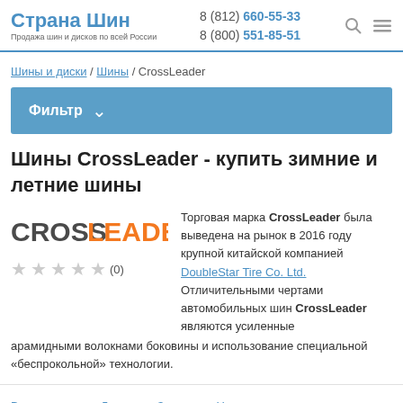Страна Шин — Продажа шин и дисков по всей России | 8 (812) 660-55-33 | 8 (800) 551-85-51
Шины и диски / Шины / CrossLeader
Фильтр
Шины CrossLeader - купить зимние и летние шины
[Figure (logo): CrossLeader brand logo in orange and dark grey text]
★★★★★ (0)
Торговая марка CrossLeader была выведена на рынок в 2016 году крупной китайской компанией DoubleStar Tire Co. Ltd. Отличительными чертами автомобильных шин CrossLeader являются усиленные арамидными волокнами боковины и использование специальной «беспрокольной» технологии.
Всесезонные  Летние  Зимние  Нет в наличии